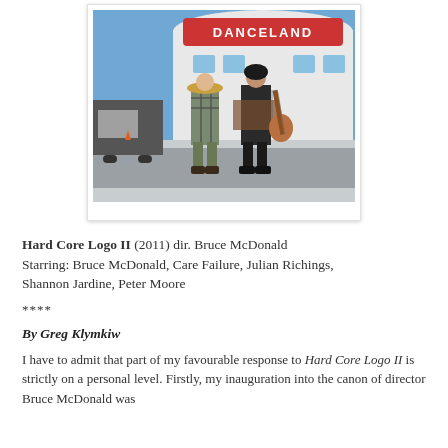[Figure (photo): Two people standing outside the Danceland venue in winter. One person wears a plaid shirt and straw hat, the other holds a guitar and wears a dark outfit with fringe. Snow is on the ground.]
Hard Core Logo II (2011) dir. Bruce McDonald Starring: Bruce McDonald, Care Failure, Julian Richings, Shannon Jardine, Peter Moore
****
By Greg Klymkiw
I have to admit that part of my favourable response to Hard Core Logo II is strictly on a personal level. Firstly, my inauguration into the canon of director Bruce McDonald was